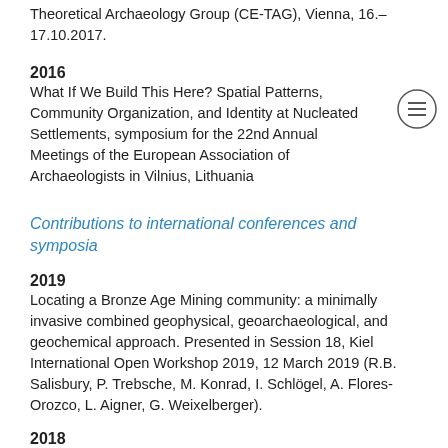Theoretical Archaeology Group (CE-TAG), Vienna, 16.–17.10.2017.
2016
What If We Build This Here? Spatial Patterns, Community Organization, and Identity at Nucleated Settlements, symposium for the 22nd Annual Meetings of the European Association of Archaeologists in Vilnius, Lithuania
Contributions to international conferences and symposia
2019
Locating a Bronze Age Mining community: a minimally invasive combined geophysical, geoarchaeological, and geochemical approach. Presented in Session 18, Kiel International Open Workshop 2019, 12 March 2019 (R.B. Salisbury, P. Trebsche, M. Konrad, I. Schlögel, A. Flores-Orozco, L. Aigner, G. Weixelberger).
2018
Movement and perception as tools to understand landscape change in pre- and protohistoric western Sicily. Presented at the 5th International Landscape Archaeology Conference in